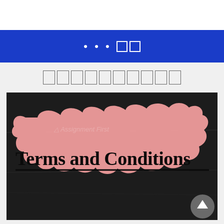• • •  □□
□□□□□□□□□□
[Figure (photo): A pink blob/banner shape on a dark chalkboard background with the text 'Terms and Conditions' written in black handwritten style font, with a watermark 'Assignment First' overlaid. A gray scroll-to-top button appears in the bottom-right corner.]